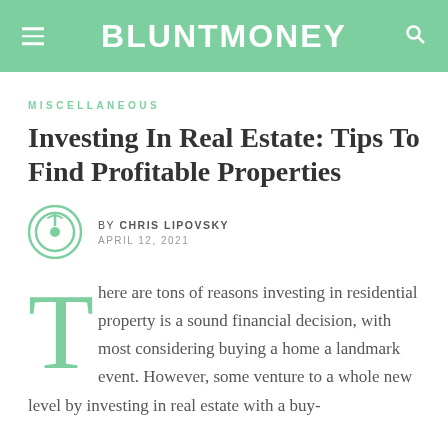BLUNTMONEY
MISCELLANEOUS
Investing In Real Estate: Tips To Find Profitable Properties
BY CHRIS LIPOVSKY
APRIL 12, 2021
There are tons of reasons investing in residential property is a sound financial decision, with most considering buying a home a landmark event. However, some venture to a whole new level by investing in real estate with a buy-